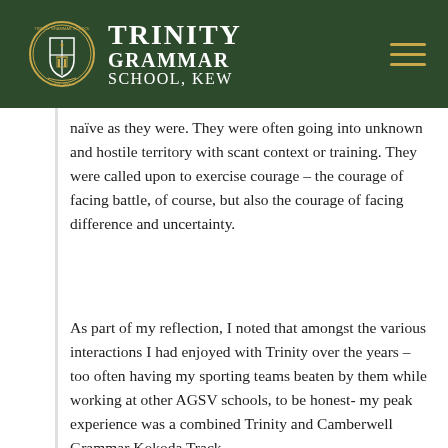[Figure (logo): Trinity Grammar School, Kew logo with crest and school name on dark green header background]
naïve as they were. They were often going into unknown and hostile territory with scant context or training. They were called upon to exercise courage – the courage of facing battle, of course, but also the courage of facing difference and uncertainty.
As part of my reflection, I noted that amongst the various interactions I had enjoyed with Trinity over the years – too often having my sporting teams beaten by them while working at other AGSV schools, to be honest- my peak experience was a combined Trinity and Camberwell Grammar Kokoda Track...